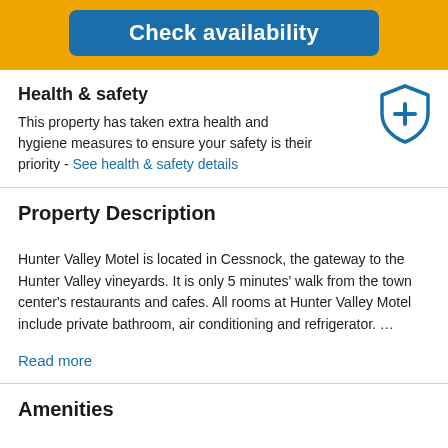[Figure (other): Blue 'Check availability' button on yellow/orange background banner]
Health & safety
This property has taken extra health and hygiene measures to ensure your safety is their priority - See health & safety details
Property Description
Hunter Valley Motel is located in Cessnock, the gateway to the Hunter Valley vineyards. It is only 5 minutes' walk from the town center's restaurants and cafes. All rooms at Hunter Valley Motel include private bathroom, air conditioning and refrigerator. …
Read more
Amenities